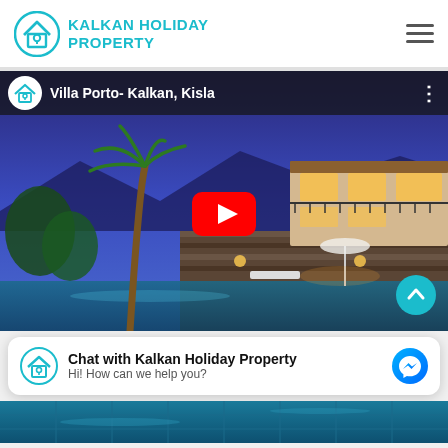[Figure (logo): Kalkan Holiday Property logo with house/pin icon in teal and teal bold uppercase text, plus hamburger menu icon]
[Figure (screenshot): YouTube video thumbnail for 'Villa Porto- Kalkan, Kisla' showing a luxury villa with pool at dusk, palm trees, stone walls, and warm interior lighting. Red YouTube play button in center. Teal scroll-up button bottom right.]
Chat with Kalkan Holiday Property
Hi! How can we help you?
[Figure (photo): Bottom strip showing tiled pool water in blue-green tones]